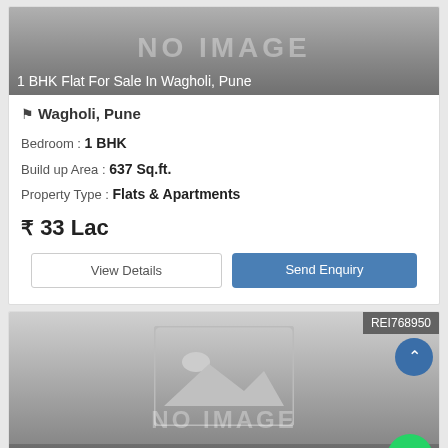[Figure (photo): No image placeholder with grey gradient background for first listing]
1 BHK Flat For Sale In Wagholi, Pune
Wagholi, Pune
Bedroom : 1 BHK
Build up Area : 637 Sq.ft.
Property Type : Flats & Apartments
₹ 33 Lac
View Details | Send Enquiry
[Figure (photo): No image placeholder second listing with REI768950 tag]
1 BHK Flat For Sale In Wagholi, Pune